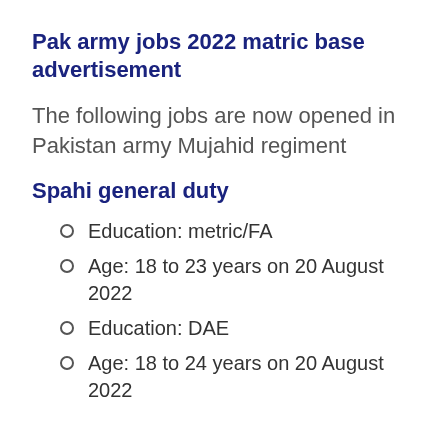Pak army jobs 2022 matric base advertisement
The following jobs are now opened in Pakistan army Mujahid regiment
Spahi general duty
Education: metric/FA
Age: 18 to 23 years on 20 August 2022
Education: DAE
Age: 18 to 24 years on 20 August 2022